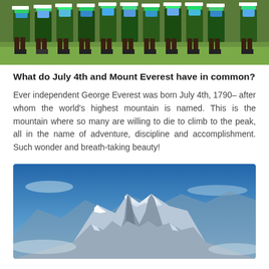[Figure (photo): Group of people in colorful traditional green, white and blue outfits standing on green grass, showing lower bodies/legs, performing or posing.]
What do July 4th and Mount Everest have in common?
Ever independent George Everest was born July 4th, 1790– after whom the world's highest mountain is named. This is the mountain where so many are willing to die to climb to the peak, all in the name of adventure, discipline and accomplishment. Such wonder and breath-taking beauty!
[Figure (photo): Aerial or distant photograph of Mount Everest with snow-covered peaks against a blue sky with some clouds.]